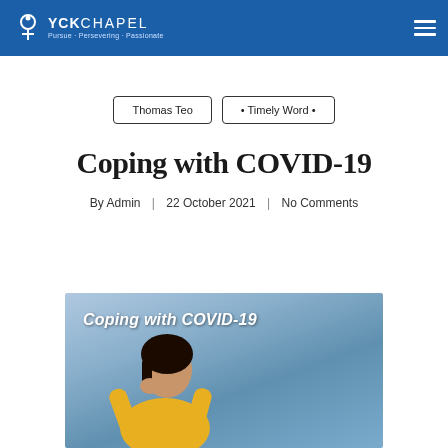YCK CHAPEL
Thomas Teo  • Timely Word •
Coping with COVID-19
By Admin | 22 October 2021 | No Comments
[Figure (photo): Woman sitting on couch looking stressed, with text overlay reading 'Coping with COVID-19']